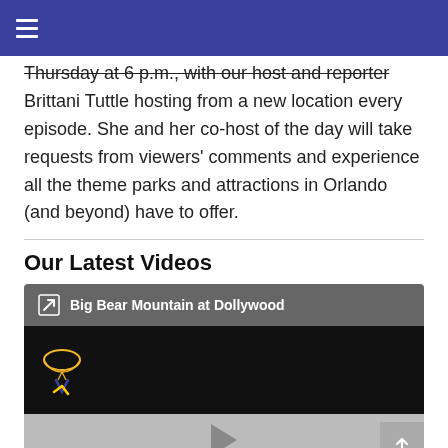≡ (navigation menu)
Thursday at 6 p.m., with our host and reporter Brittani Tuttle hosting from a new location every episode. She and her co-host of the day will take requests from viewers' comments and experience all the theme parks and attractions in Orlando (and beyond) have to offer.
Our Latest Videos
[Figure (screenshot): Video player thumbnail for 'Big Bear Mountain at Dollywood' with a dark background showing a logo icon, and a video controls bar below with a play button.]